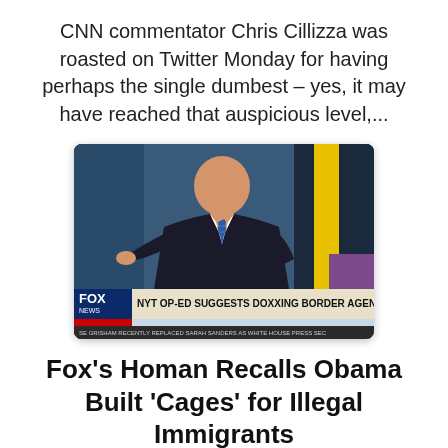CNN commentator Chris Cillizza was roasted on Twitter Monday for having perhaps the single dumbest – yes, it may have reached that auspicious level,...
[Figure (screenshot): Fox News TV screenshot of a man in a suit pointing, with chyron reading 'NYT OP-ED SUGGESTS DOXXING BORDER AGENTS' and 'FOX & friends' below, with ticker text 'GRISHAM RECENTLY REPLACED SARAH SANDERS AS WHITE HOUSE PRESS SEC']
Fox's Homan Recalls Obama Built 'Cages' for Illegal Immigrants
BRADWILMOUTH
From July 1, 2019, Fox and Friends BRIAN KILMEADE: And when people see those facilities,